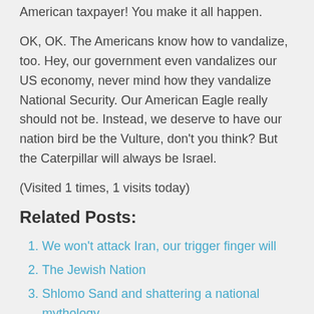American taxpayer! You make it all happen.
OK, OK. The Americans know how to vandalize, too. Hey, our government even vandalizes our US economy, never mind how they vandalize National Security. Our American Eagle really should not be. Instead, we deserve to have our nation bird be the Vulture, don't you think? But the Caterpillar will always be Israel.
(Visited 1 times, 1 visits today)
Related Posts:
We won't attack Iran, our trigger finger will
The Jewish Nation
Shlomo Sand and shattering a national mythology
Jewish State Israel's slow construction of more